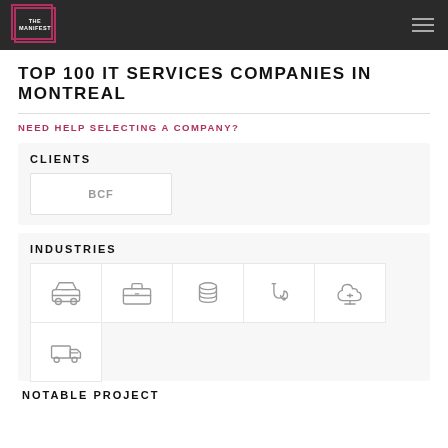THE MANIFEST
TOP 100 IT SERVICES COMPANIES IN MONTREAL
NEED HELP SELECTING A COMPANY?
CLIENTS
BCF
INDUSTRIES
[Figure (illustration): Six industry icons: automotive/car, business/briefcase, finance/coins stack, medical/stethoscope, cloud/tree, and delivery truck]
NOTABLE PROJECT